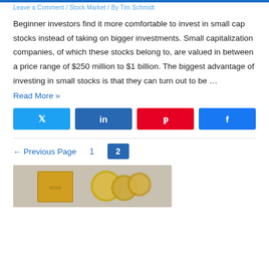Leave a Comment / Stock Market / By Tim Schmidt
Beginner investors find it more comfortable to invest in small cap stocks instead of taking on bigger investments. Small capitalization companies, of which these stocks belong to, are valued in between a price range of $250 million to $1 billion. The biggest advantage of investing in small stocks is that they can turn out to be …
Read More »
[Figure (infographic): Social share buttons: Twitter (blue), LinkedIn (dark blue), Pinterest (red), Facebook (blue)]
← Previous Page   1   2
[Figure (photo): Photo showing a golden book or box and gold/silver coins on a gray background]